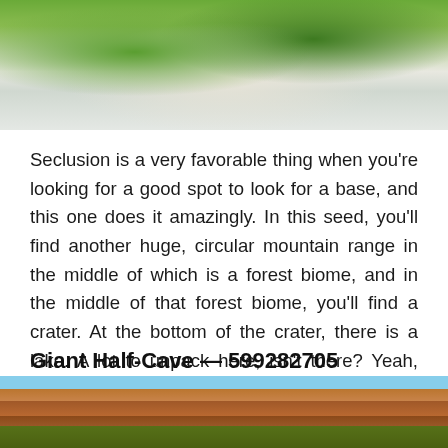[Figure (screenshot): Minecraft game screenshot showing a circular mountain range with snow-covered peaks and a green forest biome in the center, aerial view]
Seclusion is a very favorable thing when you’re looking for a good spot to look for a base, and this one does it amazingly. In this seed, you’ll find another huge, circular mountain range in the middle of which is a forest biome, and in the middle of that forest biome, you’ll find a crater. At the bottom of the crater, there is a lake. A lot to unpack here, isn’t there? Yeah, and once you get there, you’ll see why this seed is amazing.
Giant Half-Cave — 599282705
[Figure (screenshot): Minecraft game screenshot showing a giant red rock canyon cliff face with trees on top and blue sky in the background]